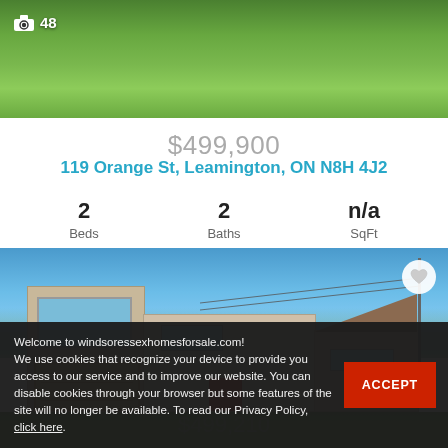[Figure (photo): Top partial view of a grassy field/lawn area with a photo count indicator showing camera icon and 48]
📷 48
$499,900
119 Orange St, Leamington, ON N8H 4J2
2
Beds
2
Baths
n/a
SqFt
[Figure (photo): Exterior photo of a two-storey house with beige/grey siding, garage door on left, red front door in center, utility pole on right, blue sky background, heart/favorite icon in top right corner]
Welcome to windsoressexhomesforsale.com!
We use cookies that recognize your device to provide you access to our service and to improve our website. You can disable cookies through your browser but some features of the site will no longer be available. To read our Privacy Policy, click here.
ACCEPT
$499,210